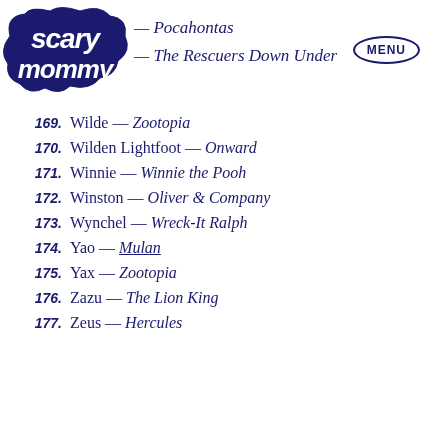[Figure (logo): Scary Mommy logo - white text on dark navy blue cloud/bubble shape]
— Pocahontas
— The Rescuers Down Under
169. Wilde — Zootopia
170. Wilden Lightfoot — Onward
171. Winnie — Winnie the Pooh
172. Winston — Oliver & Company
173. Wynchel — Wreck-It Ralph
174. Yao — Mulan
175. Yax — Zootopia
176. Zazu — The Lion King
177. Zeus — Hercules